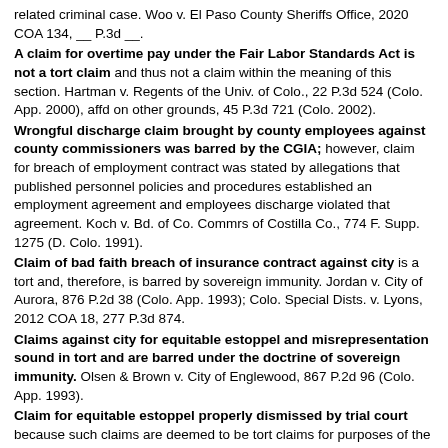related criminal case. Woo v. El Paso County Sheriffs Office, 2020 COA 134, __ P.3d __.
A claim for overtime pay under the Fair Labor Standards Act is not a tort claim and thus not a claim within the meaning of this section. Hartman v. Regents of the Univ. of Colo., 22 P.3d 524 (Colo. App. 2000), affd on other grounds, 45 P.3d 721 (Colo. 2002).
Wrongful discharge claim brought by county employees against county commissioners was barred by the CGIA; however, claim for breach of employment contract was stated by allegations that published personnel policies and procedures established an employment agreement and employees discharge violated that agreement. Koch v. Bd. of Co. Commrs of Costilla Co., 774 F. Supp. 1275 (D. Colo. 1991).
Claim of bad faith breach of insurance contract against city is a tort and, therefore, is barred by sovereign immunity. Jordan v. City of Aurora, 876 P.2d 38 (Colo. App. 1993); Colo. Special Dists. v. Lyons, 2012 COA 18, 277 P.3d 874.
Claims against city for equitable estoppel and misrepresentation sound in tort and are barred under the doctrine of sovereign immunity. Olsen & Brown v. City of Englewood, 867 P.2d 96 (Colo. App. 1993).
Claim for equitable estoppel properly dismissed by trial court because such claims are deemed to be tort claims for purposes of the CGIA. Allen Homesite Group v. Colo. Water Quality Control Commn, 19 P.3d 32 (Colo. App. 2000); Giuliani v. Jefferson County Bd. of County Commrs, 2012 COA 190, 303 P.3d 131.
CGIA bars claim for damages resulting from citys delay in issuing a certificate of occupancy. Because a building permit is not a contract that promises or impliedly promises subsequent issuance of certificate of occupancy, the claim could only lie in tort. Patzer v. City of Loveland, 80 P.3d 908 (Colo. App. 2003).